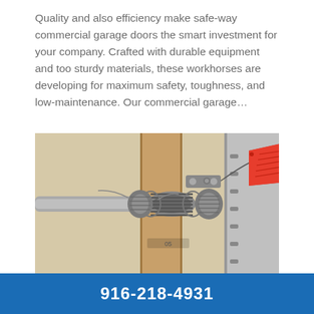Quality and also efficiency make safe-way commercial garage doors the smart investment for your company. Crafted with durable equipment and too sturdy materials, these workhorses are developing for maximum safety, toughness, and low-maintenance. Our commercial garage...
[Figure (photo): Close-up photograph of a commercial garage door torsion spring and drum assembly mounted on a shaft, with a red tag attached, and a metal track visible on the right side.]
916-218-4931